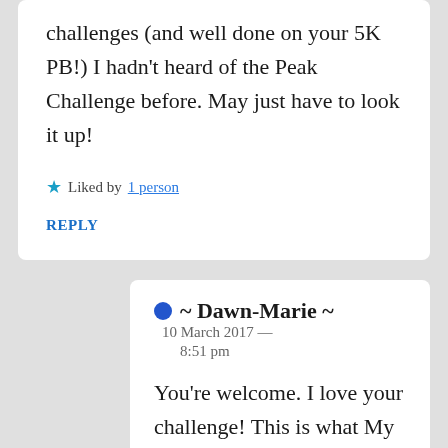challenges (and well done on your 5K PB!) I hadn't heard of the Peak Challenge before. May just have to look it up!
★ Liked by 1 person
REPLY
~ Dawn-Marie ~  10 March 2017 — 8:51 pm
You're welcome. I love your challenge! This is what My Peak Challenge is about too. Personal